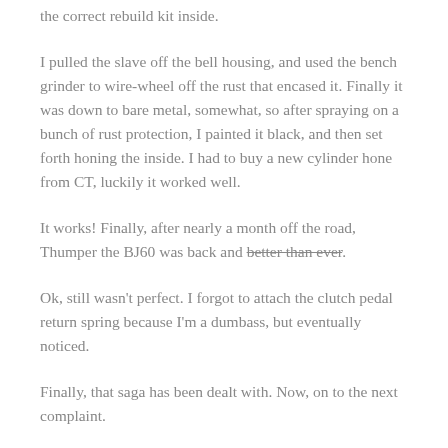the correct rebuild kit inside.
I pulled the slave off the bell housing, and used the bench grinder to wire-wheel off the rust that encased it. Finally it was down to bare metal, somewhat, so after spraying on a bunch of rust protection, I painted it black, and then set forth honing the inside. I had to buy a new cylinder hone from CT, luckily it worked well.
It works! Finally, after nearly a month off the road, Thumper the BJ60 was back and better than ever.
Ok, still wasn't perfect. I forgot to attach the clutch pedal return spring because I'm a dumbass, but eventually noticed.
Finally, that saga has been dealt with. Now, on to the next complaint.